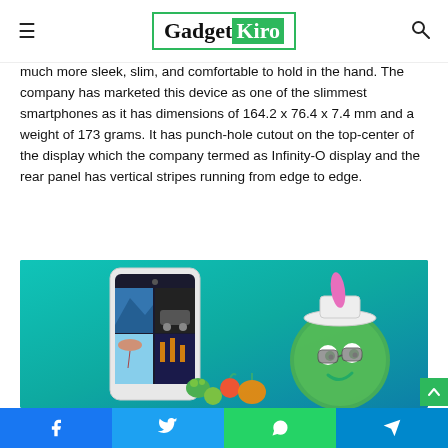GadgetKiro
much more sleek, slim, and comfortable to hold in the hand. The company has marketed this device as one of the slimmest smartphones as it has dimensions of 164.2 x 76.4 x 7.4 mm and a weight of 173 grams. It has punch-hole cutout on the top-center of the display which the company termed as Infinity-O display and the rear panel has vertical stripes running from edge to edge.
[Figure (photo): Promotional photo of a Samsung smartphone with a teal/green background, showing a phone with a punch-hole display, a green cartoon mascot character wearing sunglasses and a hat, and colorful objects around them.]
Facebook  Twitter  WhatsApp  Telegram